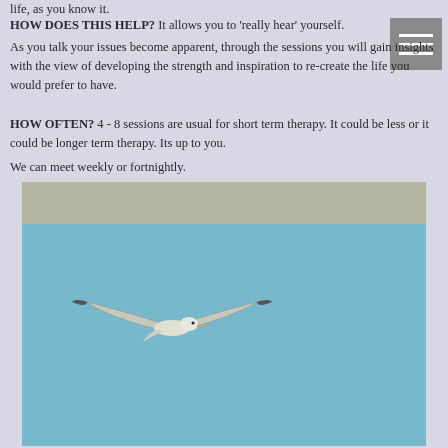life, as you know it.
HOW DOES THIS HELP? It allows you to ‘really hear’ yourself.
As you talk your issues become apparent, through the sessions you will gain insights with the view of developing the strength and inspiration to re-create the life you would prefer to have.
HOW OFTEN? 4 - 8 sessions are usual for short term therapy. It could be less or it could be longer term therapy. Its up to you.
We can meet weekly or fortnightly.
[Figure (photo): A seagull in flight against a blue sky, with a grey/taupe band at the top of the image.]